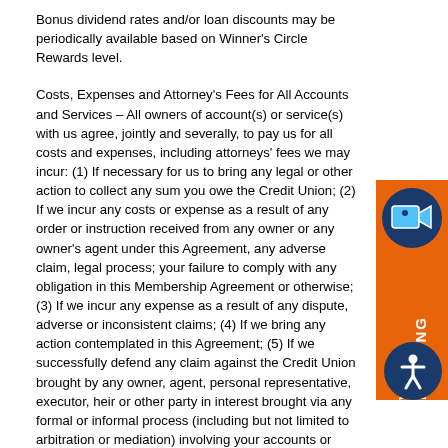Bonus dividend rates and/or loan discounts may be periodically available based on Winner's Circle Rewards level.
Costs, Expenses and Attorney's Fees for All Accounts and Services – All owners of account(s) or service(s) with us agree, jointly and severally, to pay us for all costs and expenses, including attorneys' fees we may incur: (1) If necessary for us to bring any legal or other action to collect any sum you owe the Credit Union; (2) If we incur any costs or expense as a result of any order or instruction received from any owner or any owner's agent under this Agreement, any adverse claim, legal process; your failure to comply with any obligation in this Membership Agreement or otherwise; (3) If we incur any expense as a result of any dispute, adverse or inconsistent claims; (4) If we bring any action contemplated in this Agreement; (5) If we successfully defend any claim against the Credit Union brought by any owner, agent, personal representative, executor, heir or other party in interest brought via any formal or informal process (including but not limited to arbitration or mediation) involving your accounts or services with us; or (6) If we deem it necessary to seek the advice or opinion of legal counsel or other professionals regarding the bona fides or legality of any transaction(s) to/from your accounts or involving any services with us, or any request for information or documentation regarding any of your accounts and/or services with us. If you are responsible to pay us any costs of collection or legal expenses incurred in collecting any amount you owe; in enforcing or protecting our rights under this Agreement or otherwise; or as provided in this subsection, including but not limited to costs of repossession, repair, appraisal, and all other costs or expenses, you agree
[Figure (other): Orange sidebar banner with video camera icon and 'VIDEO BANKING' text rotated vertically]
[Figure (other): Blue circular accessibility icon with person figure]